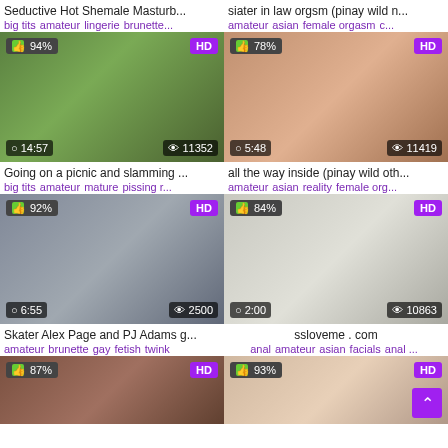Seductive Hot Shemale Masturb...
siater in law orgsm (pinay wild n...
big tits amateur lingerie brunette...
amateur asian female orgasm c...
[Figure (photo): Outdoor photo, 94% like, HD, 14:57, 11352 views]
[Figure (photo): Close up photo, 78% like, HD, 5:48, 11419 views]
Going on a picnic and slamming ...
all the way inside (pinay wild oth...
big tits amateur mature pissing r...
amateur asian reality female org...
[Figure (photo): Indoor photo, 92% like, HD, 6:55, 2500 views]
[Figure (photo): Indoor photo, 84% like, HD, 2:00, 10863 views]
Skater Alex Page and PJ Adams g...
ssloveme . com
amateur brunette gay fetish twink
anal amateur asian facials anal ...
[Figure (photo): Indoor photo, 87% like, HD, partial view]
[Figure (photo): Close up photo, 93% like, HD, partial view]